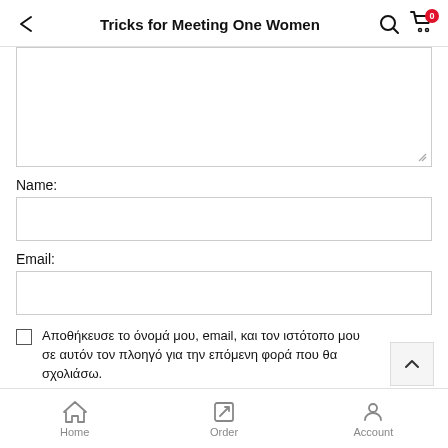Tricks for Meeting One Women
[Figure (screenshot): Large textarea input box (comment field)]
Name:
[Figure (screenshot): Name text input field]
Email:
[Figure (screenshot): Email text input field]
Αποθήκευσε το όνομά μου, email, και τον ιστότοπο μου σε αυτόν τον πλοηγό για την επόμενη φορά που θα σχολιάσω.
Home  Order  Account